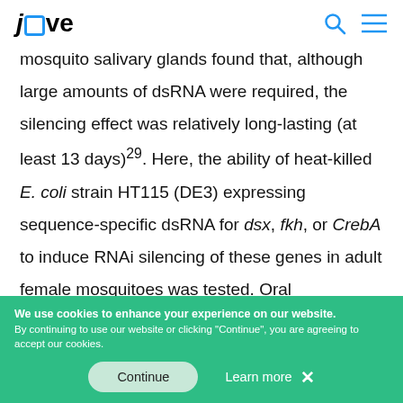JoVe [logo with search and menu icons]
mosquito salivary glands found that, although large amounts of dsRNA were required, the silencing effect was relatively long-lasting (at least 13 days)29. Here, the ability of heat-killed E. coli strain HT115 (DE3) expressing sequence-specific dsRNA for dsx, fkh, or CrebA to induce RNAi silencing of these genes in adult female mosquitoes was tested. Oral administration of
We use cookies to enhance your experience on our website. By continuing to use our website or clicking "Continue", you are agreeing to accept our cookies.
Continue   Learn more  X